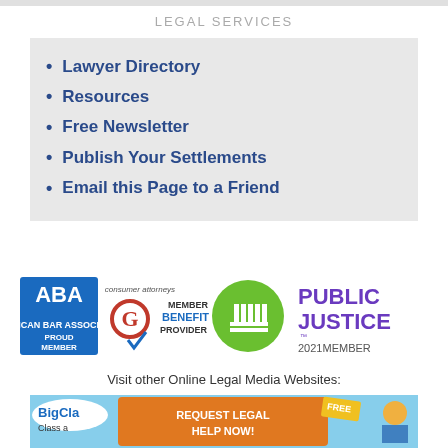LEGAL SERVICES
Lawyer Directory
Resources
Free Newsletter
Publish Your Settlements
Email this Page to a Friend
[Figure (logo): ABA Proud Member logo, Consumer Attorneys Member Benefit Provider logo, and Public Justice 2021 Member logo]
Visit other Online Legal Media Websites:
[Figure (screenshot): BigClassAction.com banner with 'REQUEST LEGAL HELP NOW! FREE' button and cartoon character]